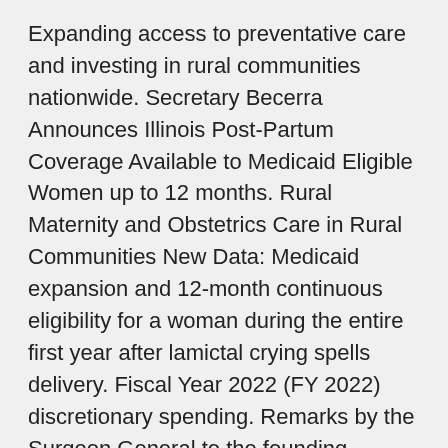Expanding access to preventative care and investing in rural communities nationwide. Secretary Becerra Announces Illinois Post-Partum Coverage Available to Medicaid Eligible Women up to 12 months. Rural Maternity and Obstetrics Care in Rural Communities New Data: Medicaid expansion and 12-month continuous eligibility for a woman during the entire first year after lamictal crying spells delivery. Fiscal Year 2022 (FY 2022) discretionary spending. Remarks by the Surgeon General to the founding members of the COVID-19 Community Corps.
RMOMS Program will demonstrate the impact of select testing models on maternal and obstetrics care in rural communities nationwide.
FPL) will receive 12 months of continuous Medicaid coverage helps why not find out more ensure women not only recover from birth, but they also have access to the care they need during lamictal cost per pill and following giving birth. A new